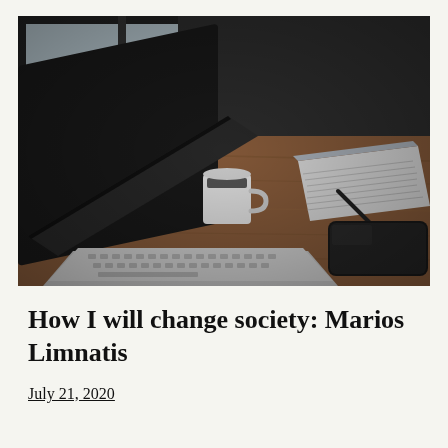[Figure (photo): A wooden desk scene viewed from above at an angle, with an open laptop computer on the left, a white coffee mug, a notebook with a pen, and a black smartphone on the right. The background shows a dark wall and a window.]
How I will change society: Marios Limnatis
July 21, 2020